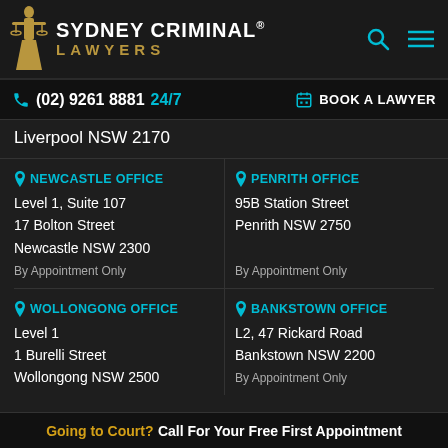SYDNEY CRIMINAL® LAWYERS
(02) 9261 8881 24/7   BOOK A LAWYER
Liverpool NSW 2170
NEWCASTLE OFFICE
Level 1, Suite 107
17 Bolton Street
Newcastle NSW 2300
By Appointment Only
PENRITH OFFICE
95B Station Street
Penrith NSW 2750
By Appointment Only
WOLLONGONG OFFICE
Level 1
1 Burelli Street
Wollongong NSW 2500
BANKSTOWN OFFICE
L2, 47 Rickard Road
Bankstown NSW 2200
By Appointment Only
Going to Court? Call For Your Free First Appointment